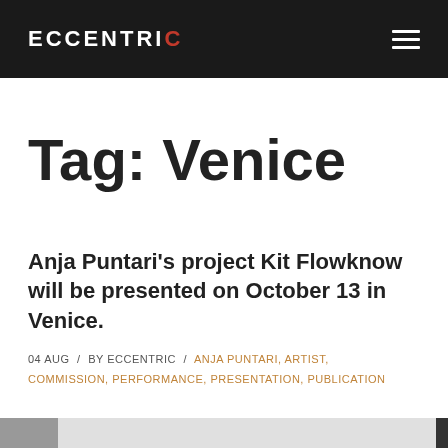ECCENTRIC
Tag: Venice
Anja Puntari's project Kit Flowknow will be presented on October 13 in Venice.
04 AUG / BY ECCENTRIC / ANJA PUNTARI, ARTIST, COMMISSION, PERFORMANCE, PRESENTATION, PUBLICATION